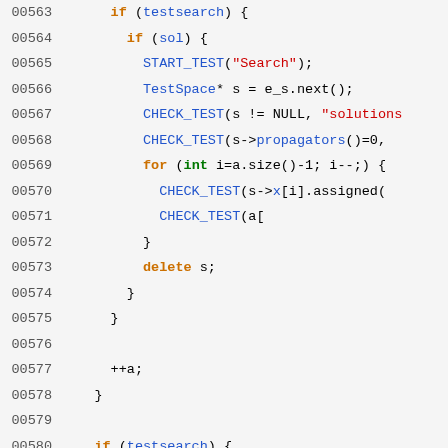[Figure (screenshot): Source code listing (Doxygen-generated) showing C++ code lines 00563-00592 with syntax highlighting, alongside a navigation sidebar with logo, nav links (main page, modules, namespaces, classes, files, Gecode home, search for), and a footer with generation info.]